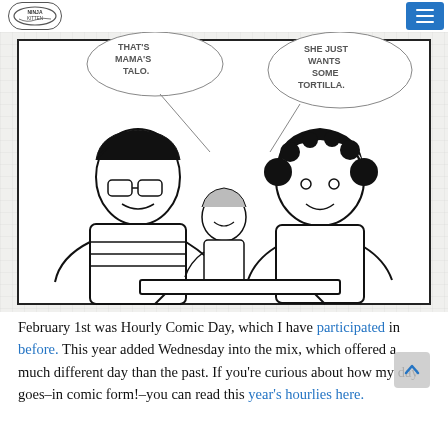Logo / navigation header with hamburger menu
[Figure (illustration): Hand-drawn black and white comic strip panel on graph paper background. Three characters sit around a table. Left character has glasses and dark hair with a speech bubble reading 'THAT'S MAMA'S TALO.' Right character has curly dark hair. A small figure sits at center. Right speech bubble reads 'SHE JUST WANTS SOME TORTILLA.']
February 1st was Hourly Comic Day, which I have participated in before. This year added Wednesday into the mix, which offered a much different day than the past. If you're curious about how my day goes–in comic form!–you can read this year's hourlies here.